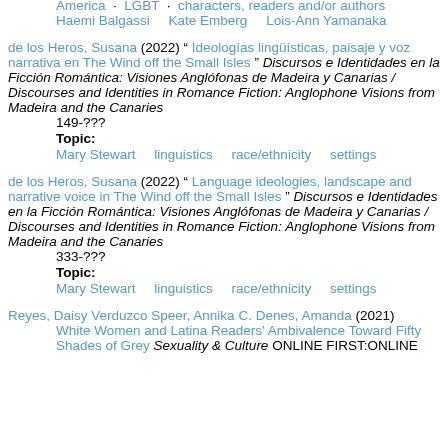America · LGBT · characters, readers and/or authors · Haemi Balgassi · Kate Emberg · Lois-Ann Yamanaka
de los Heros, Susana (2022) " Ideologías lingüísticas, paisaje y voz narrativa en The Wind off the Small Isles " Discursos e Identidades en la Ficción Romántica: Visiones Anglófonas de Madeira y Canarias / Discourses and Identities in Romance Fiction: Anglophone Visions from Madeira and the Canaries 149-??? Topic: Mary Stewart · linguistics · race/ethnicity · settings
de los Heros, Susana (2022) " Language ideologies, landscape and narrative voice in The Wind off the Small Isles " Discursos e Identidades en la Ficción Romántica: Visiones Anglófonas de Madeira y Canarias / Discourses and Identities in Romance Fiction: Anglophone Visions from Madeira and the Canaries 333-??? Topic: Mary Stewart · linguistics · race/ethnicity · settings
Reyes, Daisy Verduzco Speer, Annika C. Denes, Amanda (2021) White Women and Latina Readers' Ambivalence Toward Fifty Shades of Grey Sexuality & Culture ONLINE FIRST:ONLINE